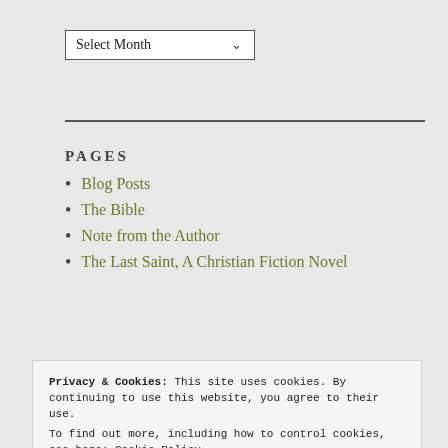[Figure (other): Select Month dropdown widget]
PAGES
Blog Posts
The Bible
Note from the Author
The Last Saint, A Christian Fiction Novel
Privacy & Cookies: This site uses cookies. By continuing to use this website, you agree to their use.
To find out more, including how to control cookies, see here: Cookie Policy
Close and accept